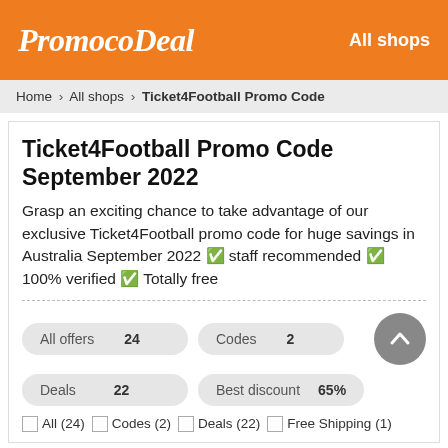PromocoDeal   All shops
Home > All shops > Ticket4Football Promo Code
Ticket4Football Promo Code September 2022
Grasp an exciting chance to take advantage of our exclusive Ticket4Football promo code for huge savings in Australia September 2022 ✅ staff recommended ✅ 100% verified ✅ Totally free
All offers 24   Codes 2   Deals 22   Best discount 65%
All (24)
Codes (2)
Deals (22)
Free Shipping (1)